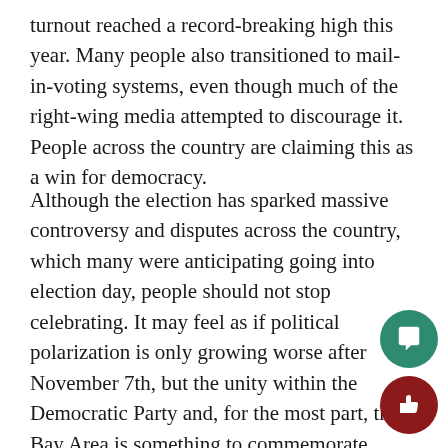turnout reached a record-breaking high this year. Many people also transitioned to mail-in-voting systems, even though much of the right-wing media attempted to discourage it. People across the country are claiming this as a win for democracy.
Although the election has sparked massive controversy and disputes across the country, which many were anticipating going into election day, people should not stop celebrating. It may feel as if political polarization is only growing worse after November 7th, but the unity within the Democratic Party and, for the most part, the Bay Area is something to commemorate. Women and feminists of all genders should also feel this election as a win, especially those who wish to go into politics and government or change the world someday. 2020 is undoubtedly one of the hardest years most of us have faced, and the legal battles, Trump rallies, and